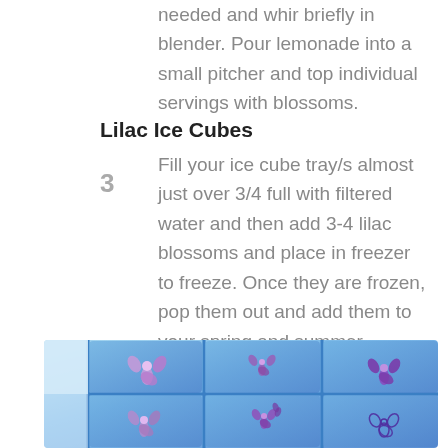needed and whir briefly in blender. Pour lemonade into a small pitcher and top individual servings with blossoms.
Lilac Ice Cubes
3  Fill your ice cube tray/s almost just over 3/4 full with filtered water and then add 3-4 lilac blossoms and place in freezer to freeze. Once they are frozen, pop them out and add them to your spring and summer beverages as needed.
[Figure (photo): Photo of a blue ice cube tray filled with water and purple lilac blossoms frozen inside, viewed from above with a purple and blue hue.]